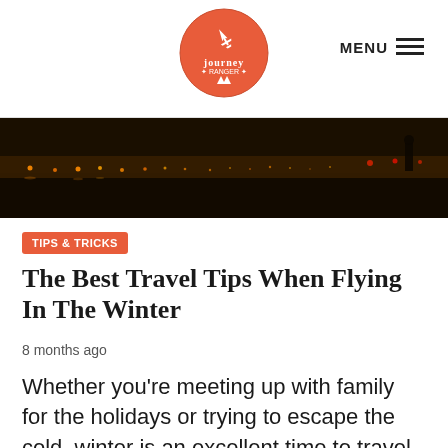Journey Ranger — MENU
[Figure (photo): Night-time airport runway photograph with warm orange lights stretching into the distance]
TIPS & TRICKS
The Best Travel Tips When Flying In The Winter
8 months ago
Whether you're meeting up with family for the holidays or trying to escape the cold, winter is an excellent time to travel. However, if you're going to venture away from home at